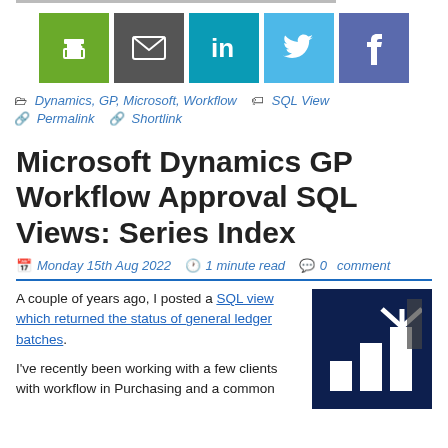[Figure (other): Social share buttons: print (green), email (dark grey), LinkedIn (teal), Twitter (light blue), Facebook (purple-blue)]
Dynamics, GP, Microsoft, Workflow  SQL View  Permalink  Shortlink
Microsoft Dynamics GP Workflow Approval SQL Views: Series Index
Monday 15th Aug 2022  1 minute read  0 comment
A couple of years ago, I posted a SQL view which returned the status of general ledger batches.

I've recently been working with a few clients with workflow in Purchasing and a common